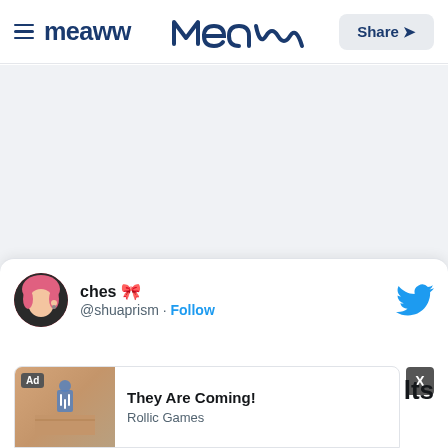Meaww — Share
[Figure (screenshot): Grey placeholder content area]
ches 🎀 @shuaprism · Follow
[Figure (screenshot): Ad banner: They Are Coming! by Rollic Games]